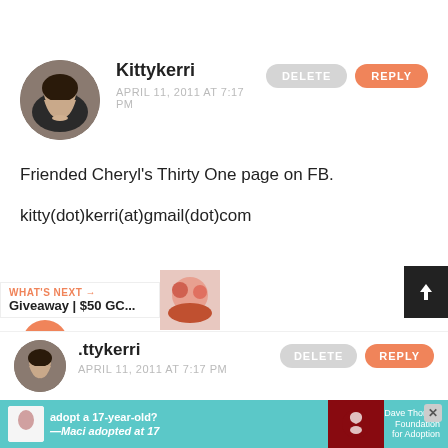[Figure (photo): Circular avatar photo of a young woman with dark hair, wearing a dark top, outdoors background]
Kittykerri
APRIL 11, 2011 AT 7:17 PM
DELETE
REPLY
Friended Cheryl's Thirty One page on FB.
kitty(dot)kerri(at)gmail(dot)com
[Figure (illustration): Heart icon button (pink/salmon circle with white heart)]
[Figure (illustration): Share icon button (white circle with share symbol)]
WHAT'S NEXT → Giveaway | $50 GC...
[Figure (photo): Small thumbnail of a cupcake/dessert]
DELETE
REPLY
[Figure (photo): Circular avatar photo of same woman, smaller]
.ttykerri
APRIL 11, 2011 AT 7:17 PM
[Figure (infographic): Advertisement banner: adopt a 17-year-old? - Maci adopted at 17, Dave Thomas Foundation for Adoption logo on teal background]